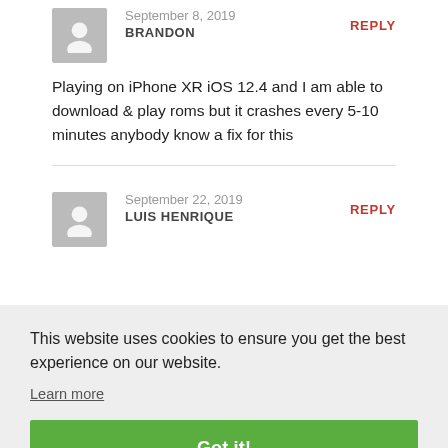September 8, 2019
BRANDON
REPLY
Playing on iPhone XR iOS 12.4 and I am able to download & play roms but it crashes every 5-10 minutes anybody know a fix for this
September 22, 2019
LUIS HENRIQUE
REPLY
al of
REPLY
This website uses cookies to ensure you get the best experience on our website.
Learn more
Got it!
Hey, more of the same to report. Crashing every five-ish minutes